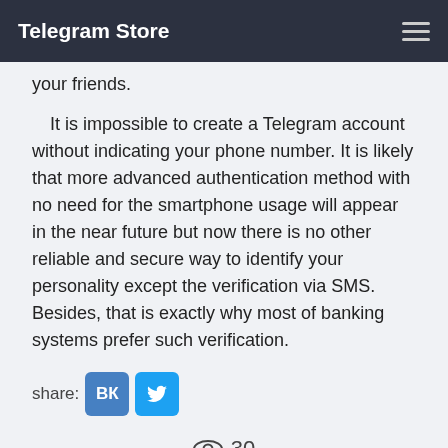Telegram Store
your friends.
It is impossible to create a Telegram account without indicating your phone number. It is likely that more advanced authentication method with no need for the smartphone usage will appear in the near future but now there is no other reliable and secure way to identify your personality except the verification via SMS. Besides, that is exactly why most of banking systems prefer such verification.
share: [VK] [Twitter]
👁 30